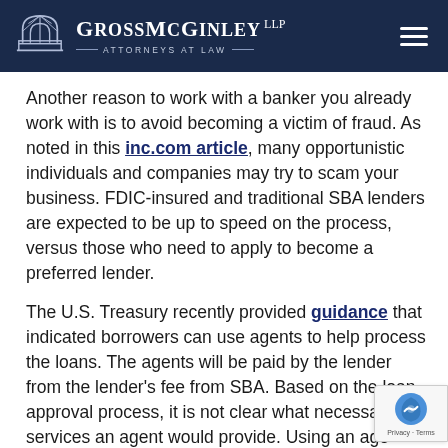Gross McGinley LLP — Attorneys at Law
Another reason to work with a banker you already work with is to avoid becoming a victim of fraud. As noted in this inc.com article, many opportunistic individuals and companies may try to scam your business. FDIC-insured and traditional SBA lenders are expected to be up to speed on the process, versus those who need to apply to become a preferred lender.
The U.S. Treasury recently provided guidance that indicated borrowers can use agents to help process the loans. The agents will be paid by the lender from the lender's fee from SBA. Based on the loan approval process, it is not clear what necessary services an agent would provide. Using an agent also likely requires you to provide your payroll other financial information to the agent, rather than...